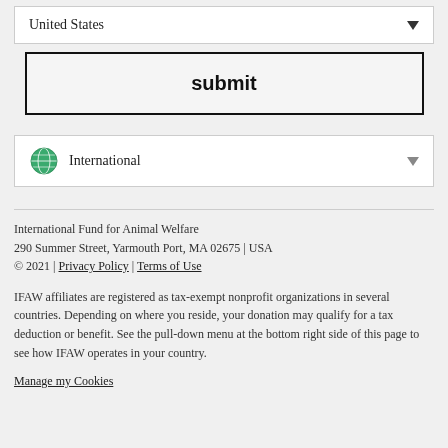United States
submit
International
International Fund for Animal Welfare
290 Summer Street, Yarmouth Port, MA 02675 | USA
© 2021 | Privacy Policy | Terms of Use
IFAW affiliates are registered as tax-exempt nonprofit organizations in several countries. Depending on where you reside, your donation may qualify for a tax deduction or benefit. See the pull-down menu at the bottom right side of this page to see how IFAW operates in your country.
Manage my Cookies